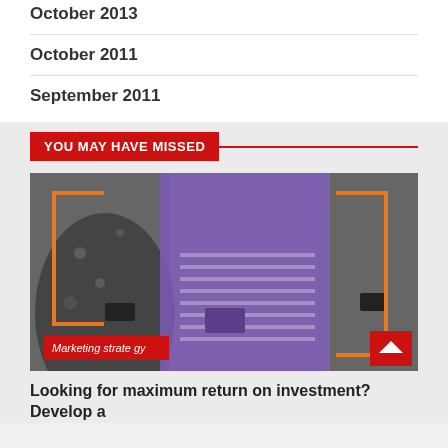October 2013
October 2011
September 2011
YOU MAY HAVE MISSED
[Figure (photo): Three people looking at smartphones. The center person wears a purple-tinted denim jacket and striped shirt. Orange bracket decorations frame the left and right sides. A red 'Marketing strategy' badge is in the lower left. A red scroll-to-top button is in the lower right.]
Marketing strategy
Looking for maximum return on investment? Develop a